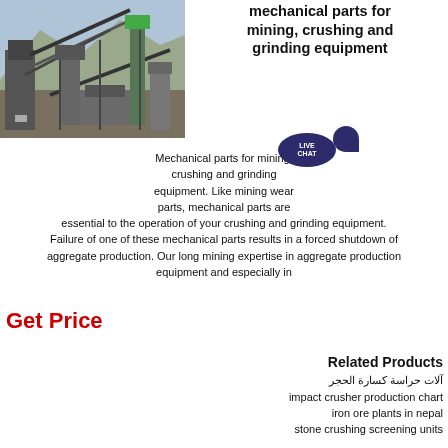mechanical parts for mining, crushing and grinding equipment
[Figure (photo): Outdoor mining/quarry facility with large industrial crushing and screening equipment, conveyors, and rocky hillside in background]
Mechanical parts for mining, crushing and grinding equipment. Like mining wear parts, mechanical parts are essential to the operation of your crushing and grinding equipment. Failure of one of these mechanical parts results in a forced shutdown of aggregate production. Our long mining expertise in aggregate production equipment and especially in
Get Price
Related Products
آلات حراسة كسارة الحجر
impact crusher production chart
iron ore plants in nepal
stone crushing screening units